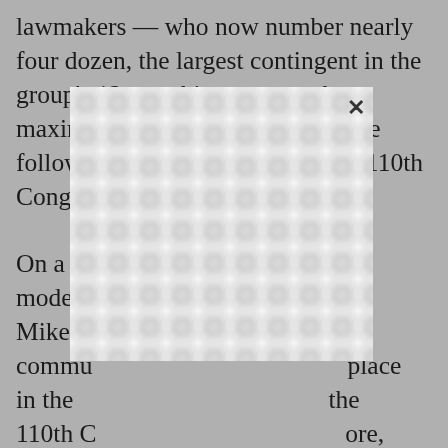lawmakers — who now number nearly four dozen, the largest contingent in the group's 12-year history — seek to maximize their impact in the House following the power switch in the 110th Congress… On a recent… the moderate… Rep. Mike R… community… place in the… the 110th C… ore, the group included Democratic Reps. Allen Boyd (Fla.), the group's administration chairman, Stephanie Herseth (S.D.), the group's whip, and John Tanner (Tenn.), a co-founder of the Blue
[Figure (other): A white overlay box with a repeating grey patterned background (interlocking circle/oval chain-link pattern) partially obscuring the text. An X close button appears in the upper right of the overlay.]